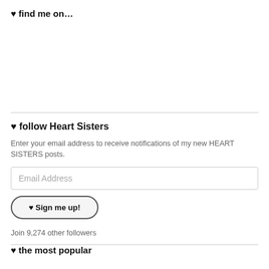♥ find me on…
Enter your email address to receive notifications of my new HEART SISTERS posts.
♥ follow Heart Sisters
Enter your email address to receive notifications of my new HEART SISTERS posts.
Email Address
♥ Sign me up!
Join 9,274 other followers
♥ the most popular